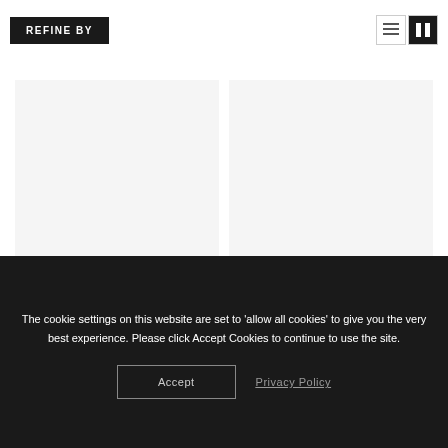REFINE BY
[Figure (screenshot): Two view toggle icon buttons: list view and column view, with column view active (dark background)]
[Figure (other): Two product placeholder cards side by side with light gray backgrounds]
The cookie settings on this website are set to 'allow all cookies' to give you the very best experience. Please click Accept Cookies to continue to use the site.
Accept
Privacy Policy